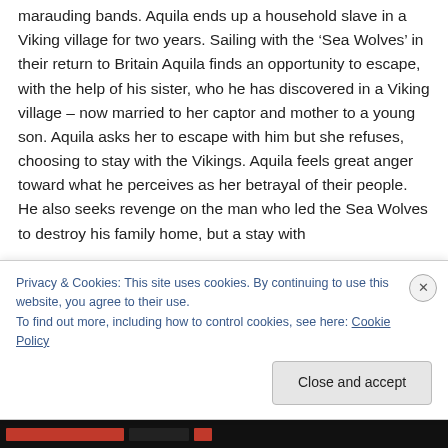marauding bands. Aquila ends up a household slave in a Viking village for two years. Sailing with the ‘Sea Wolves’ in their return to Britain Aquila finds an opportunity to escape, with the help of his sister, who he has discovered in a Viking village – now married to her captor and mother to a young son. Aquila asks her to escape with him but she refuses, choosing to stay with the Vikings. Aquila feels great anger toward what he perceives as her betrayal of their people. He also seeks revenge on the man who led the Sea Wolves to destroy his family home, but a stay with
Privacy & Cookies: This site uses cookies. By continuing to use this website, you agree to their use.
To find out more, including how to control cookies, see here: Cookie Policy